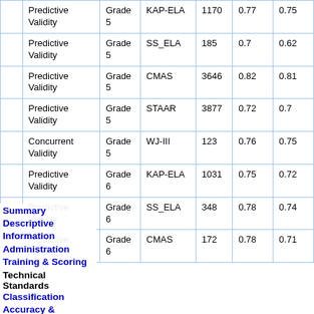|  | Validity Type | Grade | Assessment | N | r | r² |
| --- | --- | --- | --- | --- | --- | --- |
|  | Predictive Validity | Grade 5 | KAP-ELA | 1170 | 0.77 | 0.75 |
|  | Predictive Validity | Grade 5 | SS_ELA | 185 | 0.7 | 0.62 |
|  | Predictive Validity | Grade 5 | CMAS | 3646 | 0.82 | 0.81 |
|  | Predictive Validity | Grade 5 | STAAR | 3877 | 0.72 | 0.7 |
|  | Concurrent Validity | Grade 5 | WJ-III | 123 | 0.76 | 0.75 |
|  | Predictive Validity | Grade 6 | KAP-ELA | 1031 | 0.75 | 0.72 |
|  | Predictive Validity | Grade 6 | SS_ELA | 348 | 0.78 | 0.74 |
|  | Predictive Validity | Grade 6 | CMAS | 172 | 0.78 | 0.71 |
Summary
Descriptive Information
Administration
Training & Scoring
Technical Standards
Classification Accuracy & Cross-Validation Summary